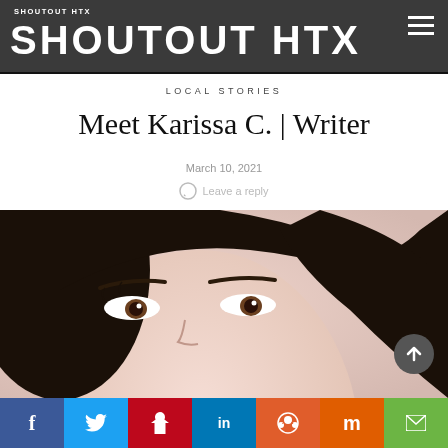SHOUTOUT HTX
LOCAL STORIES
Meet Karissa C. | Writer
March 10, 2021
Leave a reply
[Figure (photo): Close-up photo of a young woman with dark hair and light skin, her eyes and top of face visible, photographed against a light pink/peach background.]
f  t  p  in  reddit  m  email — social share buttons